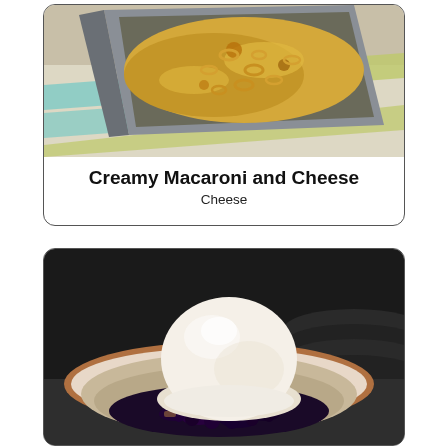[Figure (photo): Baked macaroni and cheese in a rectangular metal baking pan, golden-brown top, on a striped kitchen towel]
Creamy Macaroni and Cheese
Cheese
[Figure (photo): A scoop of vanilla ice cream on top of a dark berry cobbler or crumble in a rustic ceramic bowl with brown-rimmed edges, dark plates in background]